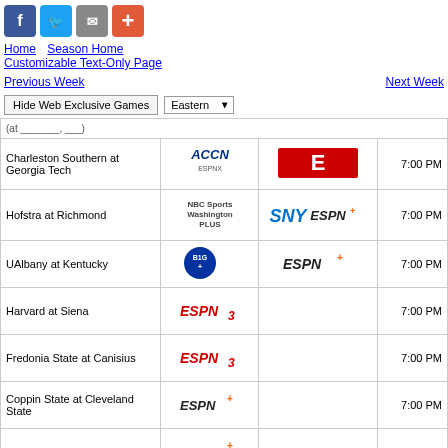[Figure (infographic): Social share buttons: Facebook, Twitter, Email, Plus]
Home   Season Home
Customizable Text-Only Page
Previous Week   Next Week
Hide Web Exclusive Games   Eastern ▼
| Game | Network 1 | Network 2 | Time |
| --- | --- | --- | --- |
| Charleston Southern at Georgia Tech | ACCN | ESPN E logo | 7:00 PM |
| Hofstra at Richmond | NBC Sports Washington Plus | SNY ESPN+ | 7:00 PM |
| UAlbany at Kentucky | B1G+ | ESPN+ | 7:00 PM |
| Harvard at Siena | ESPN3 |  | 7:00 PM |
| Fredonia State at Canisius | ESPN3 |  | 7:00 PM |
| Coppin State at Cleveland State | ESPN+ |  | 7:00 PM |
| Mount St. Mary's at Ohio | ESPN+ |  | 7:00 PM |
| Western Illinois at Northern Kentucky | ESPN+ |  | 7:00 PM |
| Crossover Classic Nevada vs. South Dakota State (at Sioux Falls, SD) | ESPN+ |  | 7:00 PM |
| Eastern Illinois at Eastern Kentucky | ESPN+ |  | 7:00 PM |